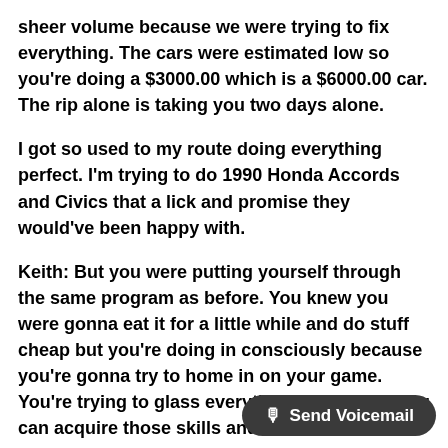sheer volume because we were trying to fix everything. The cars were estimated low so you're doing a $3000.00 which is a $6000.00 car. The rip alone is taking you two days alone.
I got so used to my route doing everything perfect. I'm trying to do 1990 Honda Accords and Civics that a lick and promise they would've been happy with.
Keith: But you were putting yourself through the same program as before. You knew you were gonna eat it for a little while and do stuff cheap but you're doing in consciously because you're gonna try to home in on your game. You're trying to glass everything out so that you can acquire those skills and hit the afterbu